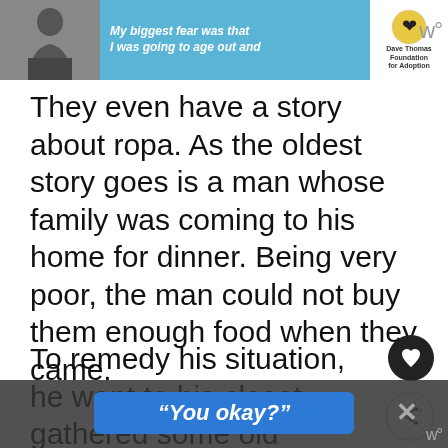[Figure (screenshot): Top banner with a black-and-white photo of a man on the left, a blue advertisement panel in the center with italic text 'My biggest fear was that I was going to age out and', a logo for Dave Thomas Foundation for Adoption on the right, and a W° icon in the top-right corner.]
They even have a story about ropa. As the oldest story goes is a man whose family was coming to his home for dinner. Being very poor, the man could not buy them enough food when they came.
To remedy his situation, he went to his closet, gathered some old clothes and imbued them with his
[Figure (screenshot): Bottom overlay bar with a blue button labeled "You okay?" in italic bold text, an X close button, and a W° icon.]